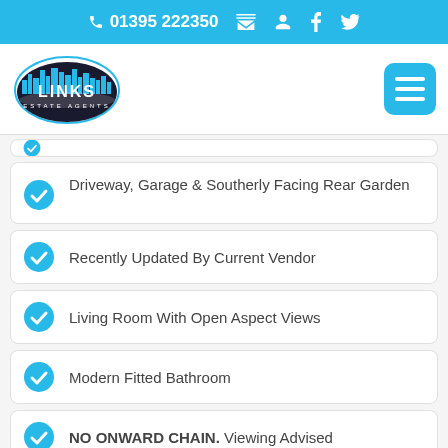01395 222350
[Figure (logo): Links Estate Agents logo — oval with city skyline silhouette]
Driveway, Garage & Southerly Facing Rear Garden
Recently Updated By Current Vendor
Living Room With Open Aspect Views
Modern Fitted Bathroom
NO ONWARD CHAIN. Viewing Advised